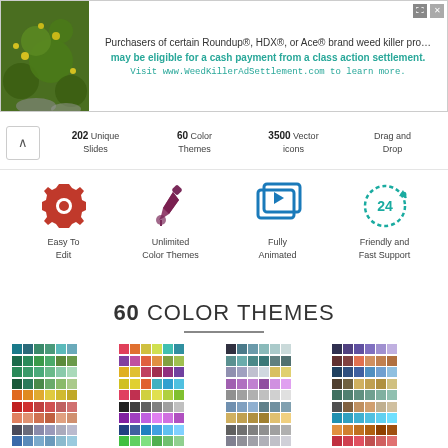[Figure (screenshot): Advertisement banner for Roundup/HDX/Ace weed killer class action settlement at WeedKillerAdSettlement.com]
202 Unique Slides   60 Color Themes   3500 Vector icons   Drag and Drop
[Figure (infographic): Four feature icons: red gear (Easy To Edit), brown eyedropper (Unlimited Color Themes), blue play button (Fully Animated), teal 24-hour clock (Friendly and Fast Support)]
60 COLOR THEMES
[Figure (infographic): Grid of color swatches showing 60 color themes arranged in 4 columns and 10 rows]